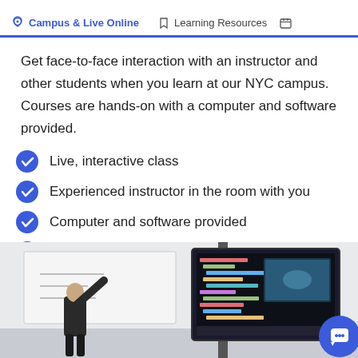Campus & Live Online   Learning Resources
Get face-to-face interaction with an instructor and other students when you learn at our NYC campus. Courses are hands-on with a computer and software provided.
Live, interactive class
Experienced instructor in the room with you
Computer and software provided
Free retake within one year
[Figure (photo): Classroom photo showing an instructor writing on a whiteboard and a monitor displaying code on the right side.]